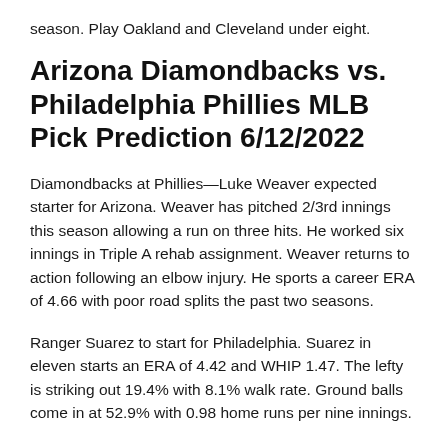season. Play Oakland and Cleveland under eight.
Arizona Diamondbacks vs. Philadelphia Phillies MLB Pick Prediction 6/12/2022
Diamondbacks at Phillies—Luke Weaver expected starter for Arizona. Weaver has pitched 2/3rd innings this season allowing a run on three hits. He worked six innings in Triple A rehab assignment. Weaver returns to action following an elbow injury. He sports a career ERA of 4.66 with poor road splits the past two seasons.
Ranger Suarez to start for Philadelphia. Suarez in eleven starts an ERA of 4.42 and WHIP 1.47. The lefty is striking out 19.4% with 8.1% walk rate. Ground balls come in at 52.9% with 0.98 home runs per nine innings.